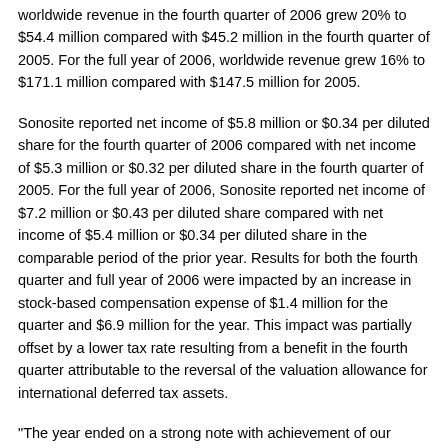worldwide revenue in the fourth quarter of 2006 grew 20% to $54.4 million compared with $45.2 million in the fourth quarter of 2005. For the full year of 2006, worldwide revenue grew 16% to $171.1 million compared with $147.5 million for 2005.
Sonosite reported net income of $5.8 million or $0.34 per diluted share for the fourth quarter of 2006 compared with net income of $5.3 million or $0.32 per diluted share in the fourth quarter of 2005. For the full year of 2006, Sonosite reported net income of $7.2 million or $0.43 per diluted share compared with net income of $5.4 million or $0.34 per diluted share in the comparable period of the prior year. Results for both the fourth quarter and full year of 2006 were impacted by an increase in stock-based compensation expense of $1.4 million for the quarter and $6.9 million for the year. This impact was partially offset by a lower tax rate resulting from a benefit in the fourth quarter attributable to the reversal of the valuation allowance for international deferred tax assets.
"The year ended on a strong note with achievement of our highest revenue quarter ever led by the continuing market success of the MicroMaxx system," said Kevin M. Goodwin, Sonosite President